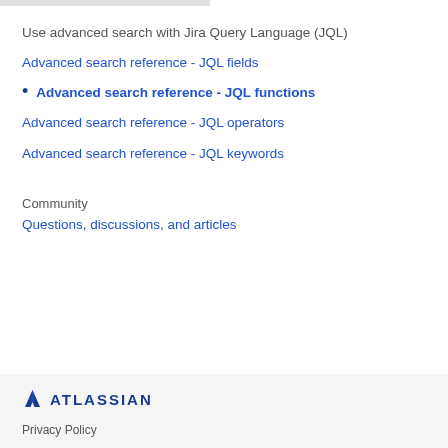Use advanced search with Jira Query Language (JQL)
Advanced search reference - JQL fields
Advanced search reference - JQL functions
Advanced search reference - JQL operators
Advanced search reference - JQL keywords
Community
Questions, discussions, and articles
ATLASSIAN
Privacy Policy